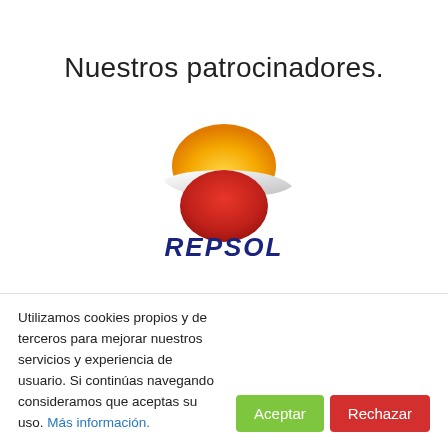Nuestros patrocinadores.
[Figure (logo): Repsol logo: orange semicircle on top, white band in the middle, red circle below, with 'REPSOL' text in dark navy blue italic font underneath]
Utilizamos cookies propios y de terceros para mejorar nuestros servicios y experiencia de usuario. Si continúas navegando consideramos que aceptas su uso. Más información.